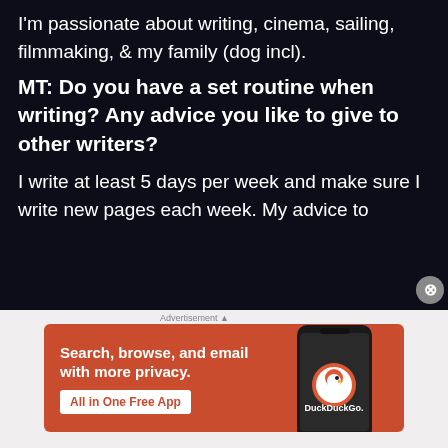I'm passionate about writing, cinema, sailing, filmmaking, & my family (dog incl).
MT: Do you have a set routine when writing? Any advice you like to give to other writers?
I write at least 5 days per week and make sure I write new pages each week. My advice to
[Figure (screenshot): DuckDuckGo advertisement banner with orange background, showing text 'Search, browse, and email with more privacy. All in One Free App' with a phone image displaying the DuckDuckGo logo]